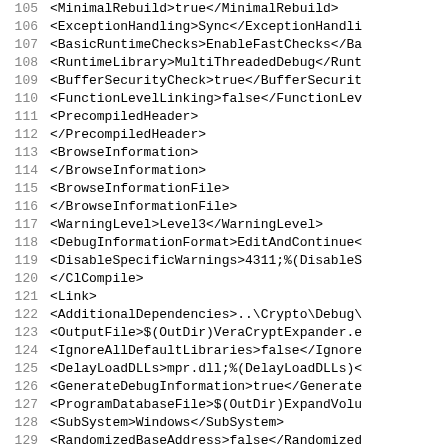Code listing lines 105-134, XML configuration snippet for a build system (e.g., Visual Studio .vcxproj). Lines include MinimalRebuild, ExceptionHandling, BasicRuntimeChecks, RuntimeLibrary, BufferSecurityCheck, FunctionLevelLinking, PrecompiledHeader, BrowseInformation, BrowseInformationFile, WarningLevel, DebugInformationFormat, DisableSpecificWarnings, ClCompile, Link, AdditionalDependencies, OutputFile, IgnoreAllDefaultLibraries, DelayLoadDLLs, GenerateDebugInformation, ProgramDatabaseFile, SubSystem, RandomizedBaseAddress, DataExecutionPrevention, TargetMachine, UACExecutionLevel, Link, Manifest.